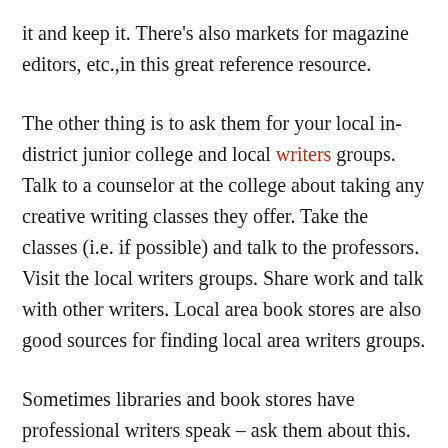it and keep it. There's also markets for magazine editors, etc.,in this great reference resource.
The other thing is to ask them for your local in-district junior college and local writers groups. Talk to a counselor at the college about taking any creative writing classes they offer. Take the classes (i.e. if possible) and talk to the professors. Visit the local writers groups. Share work and talk with other writers. Local area book stores are also good sources for finding local area writers groups.
Sometimes libraries and book stores have professional writers speak – ask them about this. Go to their